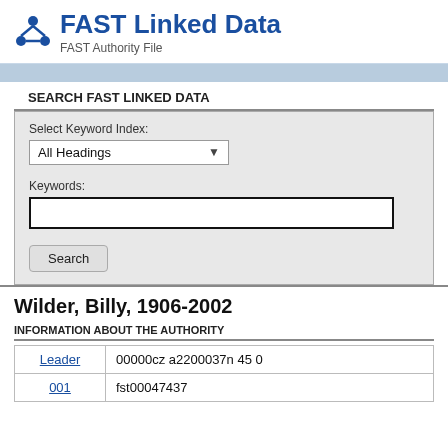FAST Linked Data — FAST Authority File
SEARCH FAST LINKED DATA
Select Keyword Index: All Headings
Keywords:
Wilder, Billy, 1906-2002
INFORMATION ABOUT THE AUTHORITY
| Field | Value |
| --- | --- |
| Leader | 00000cz a2200037n 45 0 |
| 001 | fst00047437 |